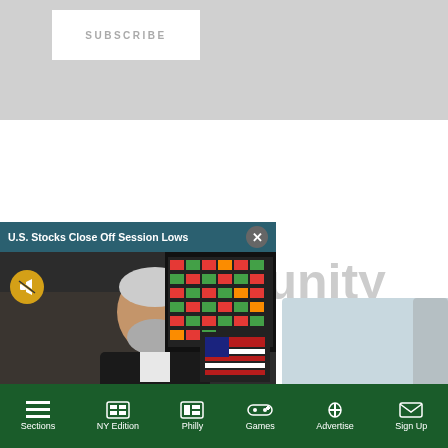[Figure (screenshot): Gray subscription area with a white SUBSCRIBE button]
[Figure (screenshot): Video popup overlay titled 'U.S. Stocks Close Off Session Lows' showing a man on a trading floor with an American flag and stock ticker board in the background. Yellow mute button visible. Close (X) button in top-right of popup header.]
munity
Sections | NY Edition | Philly | Games | Advertise | Sign Up